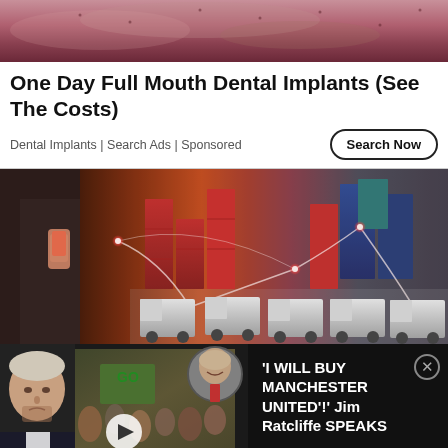[Figure (photo): Close-up of skin/scalp, reddish-purple tones, top portion of image cropped]
One Day Full Mouth Dental Implants (See The Costs)
Dental Implants | Search Ads | Sponsored
[Figure (photo): Person in suit using smartphone near shipping containers with glowing digital network overlay, trucks in foreground]
[Figure (screenshot): Video banner: Jim Ratcliffe with crowd, circle inset of bald man smiling. Text overlay: JIM RATCLIFFE / I WANT TO BUY MAN UTD! Red bar at bottom. Right side text: 'I WILL BUY MANCHESTER UNITED'!' Jim Ratcliffe SPEAKS. Close X button.]